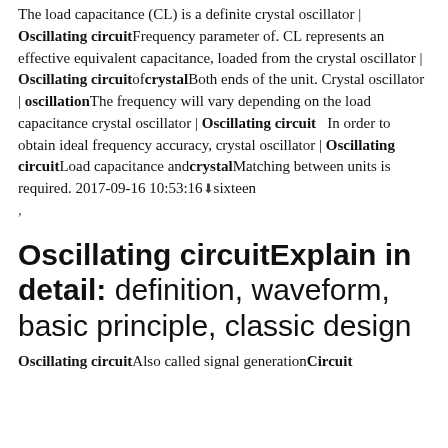The load capacitance (CL) is a definite crystal oscillator | Oscillating circuit Frequency parameter of. CL represents an effective equivalent capacitance, loaded from the crystal oscillator | Oscillating circuit of crystal Both ends of the unit. Crystal oscillator | oscillation The frequency will vary depending on the load capacitance crystal oscillator | Oscillating circuit   In order to obtain ideal frequency accuracy, crystal oscillator | Oscillating circuit Load capacitance and crystal Matching between units is required. 2017-09-16 10:53:16 ⬇ sixteen
,
Oscillating circuitExplain in detail: definition, waveform, basic principle, classic design
Oscillating circuit Also called signal generation Circuit